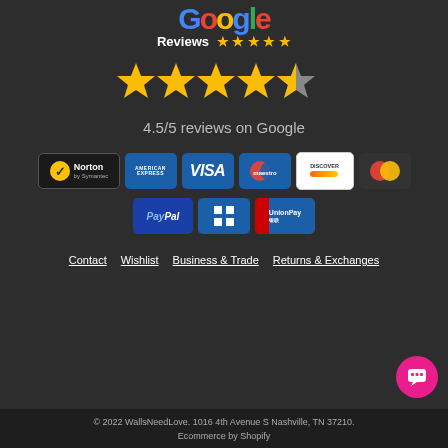[Figure (logo): Google Reviews logo with colorful Google letters and 5 small star icons]
[Figure (infographic): 4.5 out of 5 large gold stars rating display]
4.5/5 reviews on Google
[Figure (infographic): Row of payment method badges: Norton by Symantec, American Express, Visa, Maestro, Discover, Mastercard, PayPal, Shopify Pay, UnionPay]
Contact
Wishlist
Business & Trade
Returns & Exchanges
© 2022 WallsNeedLove. 1016 4th Avenue S Nashville, TN 37210. Ecommerce by Shopify